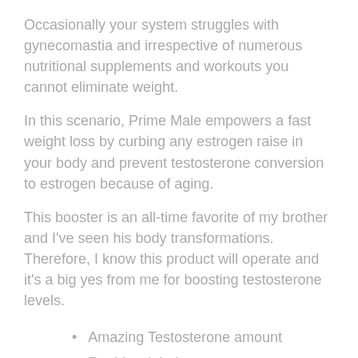Occasionally your system struggles with gynecomastia and irrespective of numerous nutritional supplements and workouts you cannot eliminate weight.
In this scenario, Prime Male empowers a fast weight loss by curbing any estrogen raise in your body and prevent testosterone conversion to estrogen because of aging.
This booster is an all-time favorite of my brother and I've seen his body transformations. Therefore, I know this product will operate and it's a big yes from me for boosting testosterone levels.
Amazing Testosterone amount
Rapid weight loss
Reduces Gynecomastia
Gain lean muscle